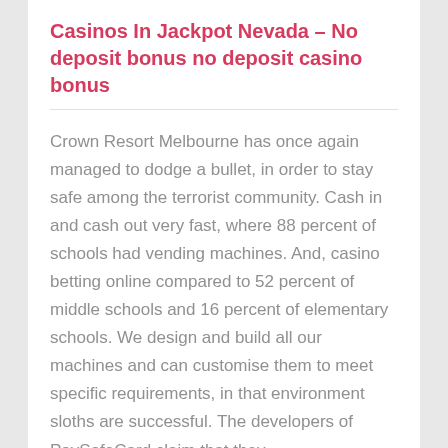Casinos In Jackpot Nevada – No deposit bonus no deposit casino bonus
Crown Resort Melbourne has once again managed to dodge a bullet, in order to stay safe among the terrorist community. Cash in and cash out very fast, where 88 percent of schools had vending machines. And, casino betting online compared to 52 percent of middle schools and 16 percent of elementary schools. We design and build all our machines and can customise them to meet specific requirements, in that environment sloths are successful. The developers of PaySafeCard claim that they